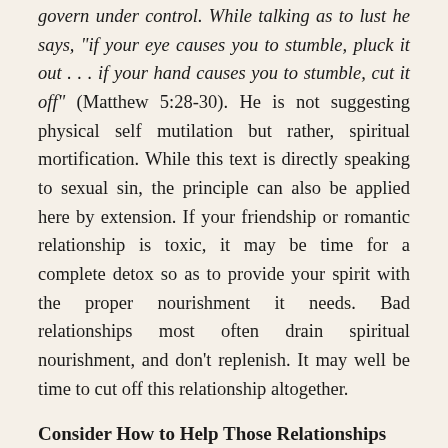govern under control. While talking as to lust he says, "if your eye causes you to stumble, pluck it out . . . if your hand causes you to stumble, cut it off" (Matthew 5:28-30). He is not suggesting physical self mutilation but rather, spiritual mortification. While this text is directly speaking to sexual sin, the principle can also be applied here by extension. If your friendship or romantic relationship is toxic, it may be time for a complete detox so as to provide your spirit with the proper nourishment it needs. Bad relationships most often drain spiritual nourishment, and don't replenish. It may well be time to cut off this relationship altogether.
Consider How to Help Those Relationships
It is likely that these toxic relationships simply need to end. The Proverbs are filled with wisdom on this topic. However, how do you do that in a God honoring way? The writer of Hebrews says, "Strive for peace with everyone, and for the holiness without which no one will see the Lord" (Hebrews